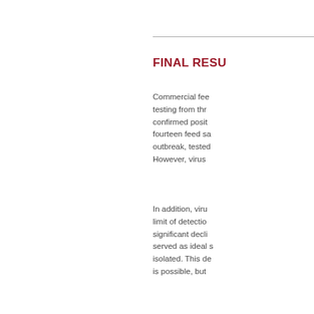FINAL RESU
Commercial fee testing from thr confirmed posit fourteen feed sa outbreak, tested However, virus
In addition, viru limit of detectio significant decli served as ideal s isolated. This de is possible, but